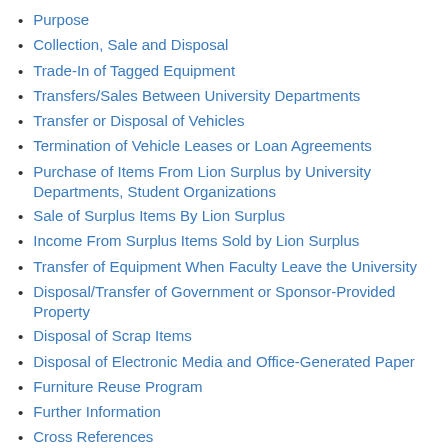Purpose
Collection, Sale and Disposal
Trade-In of Tagged Equipment
Transfers/Sales Between University Departments
Transfer or Disposal of Vehicles
Termination of Vehicle Leases or Loan Agreements
Purchase of Items From Lion Surplus by University Departments, Student Organizations
Sale of Surplus Items By Lion Surplus
Income From Surplus Items Sold by Lion Surplus
Transfer of Equipment When Faculty Leave the University
Disposal/Transfer of Government or Sponsor-Provided Property
Disposal of Scrap Items
Disposal of Electronic Media and Office-Generated Paper
Furniture Reuse Program
Further Information
Cross References